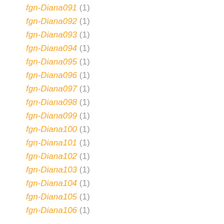fgn-Diana091 (1)
fgn-Diana092 (1)
fgn-Diana093 (1)
fgn-Diana094 (1)
fgn-Diana095 (1)
fgn-Diana096 (1)
fgn-Diana097 (1)
fgn-Diana098 (1)
fgn-Diana099 (1)
fgn-Diana100 (1)
fgn-Diana101 (1)
fgn-Diana102 (1)
fgn-Diana103 (1)
fgn-Diana104 (1)
fgn-Diana105 (1)
fgn-Diana106 (1)